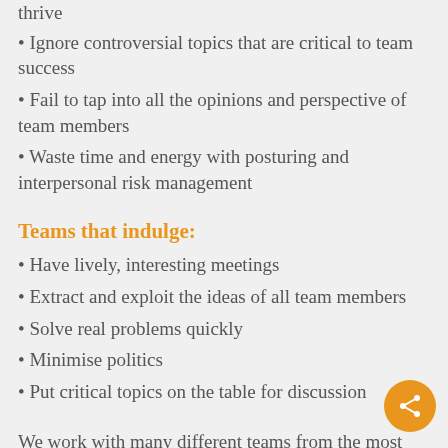thrive
• Ignore controversial topics that are critical to team success
• Fail to tap into all the opinions and perspective of team members
• Waste time and energy with posturing and interpersonal risk management
Teams that indulge:
• Have lively, interesting meetings
• Extract and exploit the ideas of all team members
• Solve real problems quickly
• Minimise politics
• Put critical topics on the table for discussion
We work with many different teams from the most senior to service managers, fundraising managers and operational